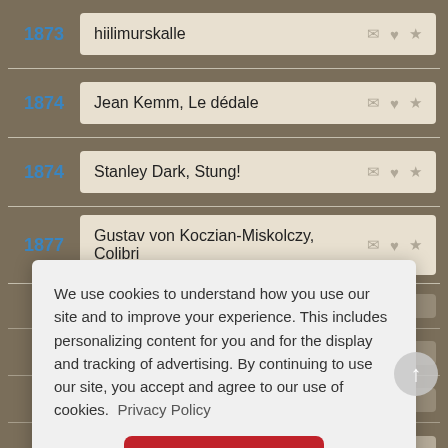1873 — hiilimurskalle
1874 — Jean Kemm, Le dédale
1874 — Stanley Dark, Stung!
1877 — Gustav von Koczian-Miskolczy, Colibri
We use cookies to understand how you use our site and to improve your experience. This includes personalizing content for you and for the display and tracking of advertising. By continuing to use our site, you accept and agree to our use of cookies.  Privacy Policy
Got it!
1879 — Hugh Cameron, The Emergency Case